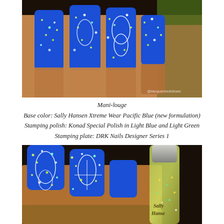[Figure (photo): Close-up photo of a hand with blue nail polish decorated with white geometric stamping patterns and light green/yellow dots glitter, photographed against a light background. Watermark @lacquerlockdown visible.]
Mani-louge
Base color: Sally Hansen Xtreme Wear Pacific Blue (new formulation)
Stamping polish: Konad Special Polish in Light Blue and Light Green
Stamping plate: DRK Nails Designer Series 1
[Figure (photo): Close-up photo of a hand holding a Sally Hansen nail polish bottle (glitter, green/gold), with blue nails featuring white geometric stamping and yellow/green glitter dots. Dark background.]